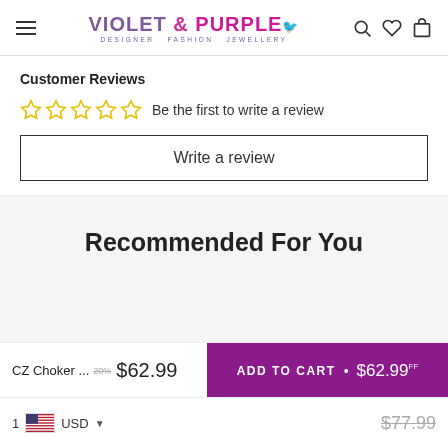Violet & Purple — Designer Fashion Jewellery
Customer Reviews
Be the first to write a review
Write a review
Recommended For You
CZ Choker ... $62.99
ADD TO CART • $62.99
1 USD  $77.99